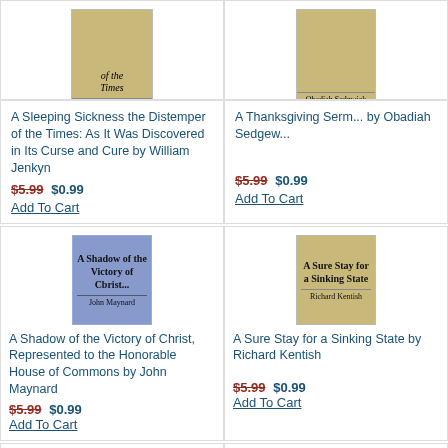[Figure (illustration): Book cover for 'A Sleeping Sickness the Distemper of the Times' by William Jenkyn, tan/gold colored]
A Sleeping Sickness the Distemper of the Times: As It Was Discovered in Its Curse and Cure by William Jenkyn
$5.99 $0.99
Add To Cart
[Figure (illustration): Book cover for 'A Thanksgiving Sermon by Obadiah Sedgwick', tan/gold colored]
A Thanksgiving Sermon by Obadiah Sedgwick
$5.99 $0.99
Add To Cart
[Figure (illustration): Book cover for 'A Shadow of the Victory of Christ...' by John Maynard, blue/grey colored]
A Shadow of the Victory of Christ, Represented to the Honorable House of Commons by John Maynard
$5.99 $0.99
Add To Cart
[Figure (illustration): Book cover for 'A Sure Stay for a Sinking State' by Richard Kentish, tan colored]
A Sure Stay for a Sinking State by Richard Kentish
$5.99 $0.99
Add To Cart
[Figure (illustration): Partial book cover visible at bottom left, green colored, text 'A Short']
[Figure (illustration): Partial book cover visible at bottom right, tan colored]